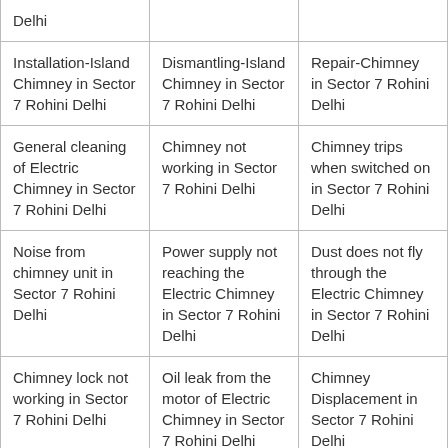| Delhi |  |  |
| Installation-Island Chimney in Sector 7 Rohini Delhi | Dismantling-Island Chimney in Sector 7 Rohini Delhi | Repair-Chimney in Sector 7 Rohini Delhi |
| General cleaning of Electric Chimney in Sector 7 Rohini Delhi | Chimney not working in Sector 7 Rohini Delhi | Chimney trips when switched on in Sector 7 Rohini Delhi |
| Noise from chimney unit in Sector 7 Rohini Delhi | Power supply not reaching the Electric Chimney in Sector 7 Rohini Delhi | Dust does not fly through the Electric Chimney in Sector 7 Rohini Delhi |
| Chimney lock not working in Sector 7 Rohini Delhi | Oil leak from the motor of Electric Chimney in Sector 7 Rohini Delhi | Chimney Displacement in Sector 7 Rohini Delhi |